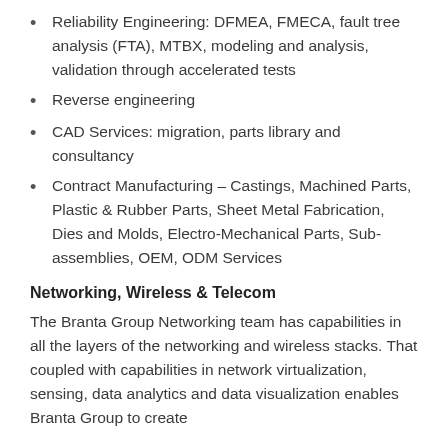Reliability Engineering: DFMEA, FMECA, fault tree analysis (FTA), MTBX, modeling and analysis, validation through accelerated tests
Reverse engineering
CAD Services: migration, parts library and consultancy
Contract Manufacturing – Castings, Machined Parts, Plastic & Rubber Parts, Sheet Metal Fabrication, Dies and Molds, Electro-Mechanical Parts, Sub-assemblies, OEM, ODM Services
Networking, Wireless & Telecom
The Branta Group Networking team has capabilities in all the layers of the networking and wireless stacks. That coupled with capabilities in network virtualization, sensing, data analytics and data visualization enables Branta Group to create